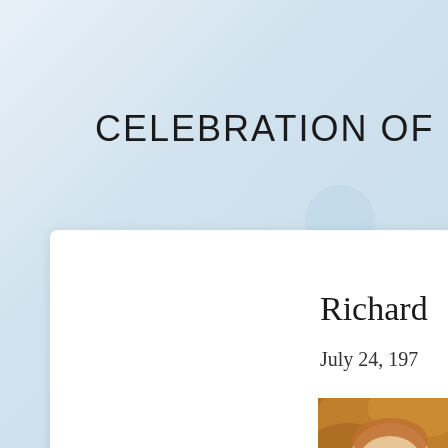CELEBRATION OF LIFE
Richard
July 24, 197
[Figure (photo): Portrait photo of a man with reddish-brown hair against a warm brown/orange background]